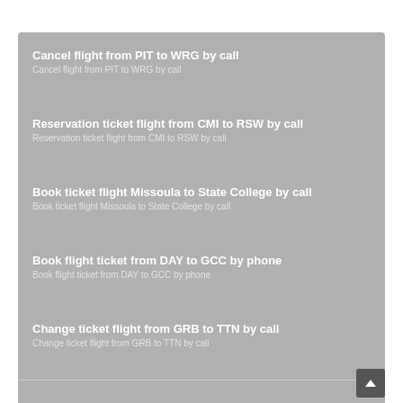Cancel flight from PIT to WRG by call
Reservation ticket flight from CMI to RSW by call
Book ticket flight Missoula to State College by call
Book flight ticket from DAY to GCC by phone
Change ticket flight from GRB to TTN by call
Booking flight from SHV to ABI by call